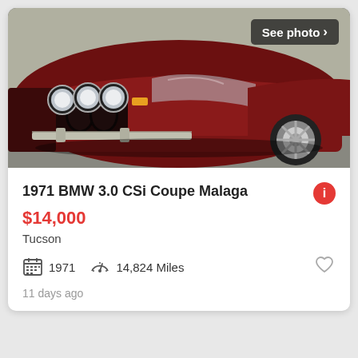[Figure (photo): Front view of a dark red/maroon 1971 BMW 3.0 CSi Coupe with round headlights and chrome bumper, photographed in a parking area]
See photo >
1971 BMW 3.0 CSi Coupe Malaga
$14,000
Tucson
1971   14,824 Miles
11 days ago